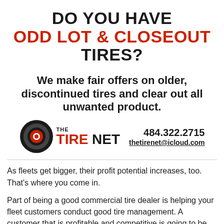DO YOU HAVE ODD LOT & CLOSEOUT TIRES?
We make fair offers on older, discontinued tires and clear out all unwanted product.
[Figure (logo): The Tire Net logo with tire icon, company name, phone number 484.322.2715 and email thetirenet@icloud.com]
As fleets get bigger, their profit potential increases, too. That's where you come in.
Part of being a good commercial tire dealer is helping your fleet customers conduct good tire management. A customer that is profitable and competitive is going to be around for a while and keep buying tires.